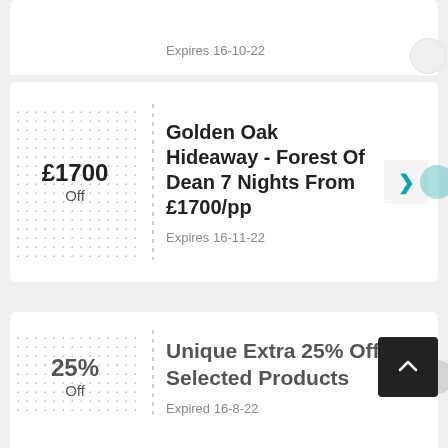Expires 16-10-22
Golden Oak Hideaway - Forest Of Dean 7 Nights From £1700/pp
£1700 Off
Expires 16-11-22
Unique Extra 25% Off Selected Products
25% Off
Expired 16-8-22